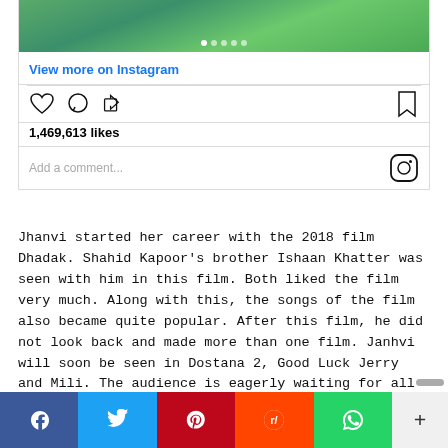[Figure (screenshot): Instagram embed showing image carousel with dots, action icons (heart, comment, share, bookmark), 1,469,613 likes, and comment box]
Jhanvi started her career with the 2018 film Dhadak. Shahid Kapoor's brother Ishaan Khatter was seen with him in this film. Both liked the film very much. Along with this, the songs of the film also became quite popular. After this film, he did not look back and made more than one film. Janhvi will soon be seen in Dostana 2, Good Luck Jerry and Mili. The audience is eagerly waiting for all these movies for the actress.
[Figure (screenshot): Social share bar with Facebook, Twitter, Pinterest, Reddit, WhatsApp buttons and a + button]